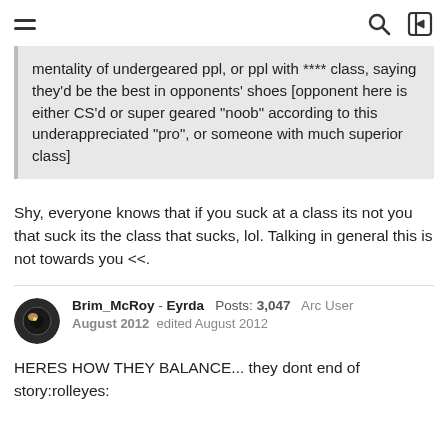navigation header with hamburger menu, search, and login icons
mentality of undergeared ppl, or ppl with **** class, saying they'd be the best in opponents' shoes [opponent here is either CS'd or super geared "noob" according to this underappreciated "pro", or someone with much superior class]
Shy, everyone knows that if you suck at a class its not you that suck its the class that sucks, lol. Talking in general this is not towards you <<.
Brim_McRoy - Eyrda  Posts: 3,047  Arc User
August 2012  edited August 2012
HERES HOW THEY BALANCE... they dont end of story:rolleyes: